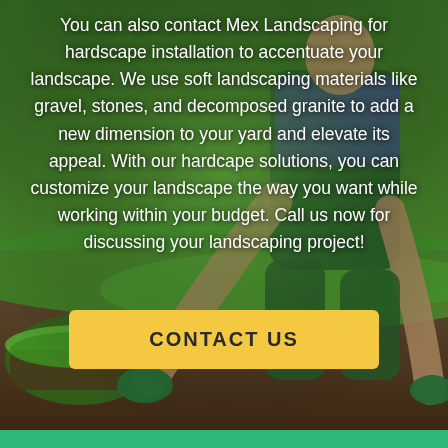[Figure (photo): Background photo of a landscaper/gardener rolling out sod on a lawn. Person wearing green overalls, plaid shirt, and green gloves, kneeling on grass/soil with a rolled sod in the lower left.]
You can also contact Mex Landscaping for hardscape installation to accentuate your landscape. We use soft landscaping materials like gravel, stones, and decomposed granite to add a new dimension to your yard and elevate its appeal. With our hardcape solutions, you can customize your landscape the way you want while working within your budget. Call us now for discussing your landscaping project!
CONTACT US